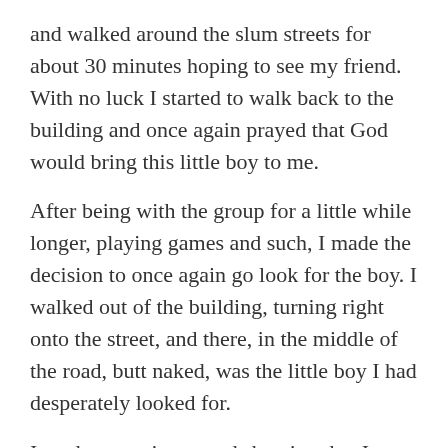and walked around the slum streets for about 30 minutes hoping to see my friend. With no luck I started to walk back to the building and once again prayed that God would bring this little boy to me.
After being with the group for a little while longer, playing games and such, I made the decision to once again go look for the boy. I walked out of the building, turning right onto the street, and there, in the middle of the road, butt naked, was the little boy I had desperately looked for.
I made a gasping sound showing that I was shocked I found him. He turned around and in seeing it was me, his little body started running towards me with a smile and a scream. I was equally excited to see him and in that moment I had a revelation, God seeks after us.
In Luke 15 it says that the shepherd (God) leaves the 99 sheep to go after the one lost sheep. God pursues us